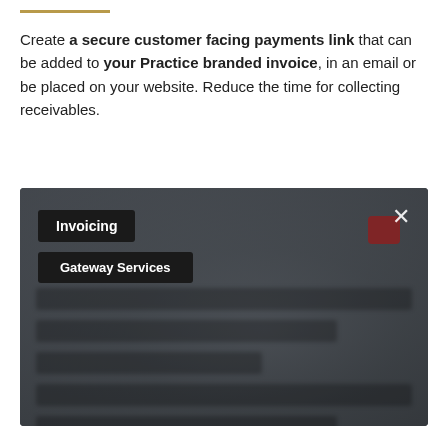Create a secure customer facing payments link that can be added to your Practice branded invoice, in an email or be placed on your website. Reduce the time for collecting receivables.
[Figure (screenshot): A software interface screenshot showing an Invoicing modal with a 'Gateway Services' submenu item. The background is dark and blurred, with an X close button in the top right corner and a small red element visible.]